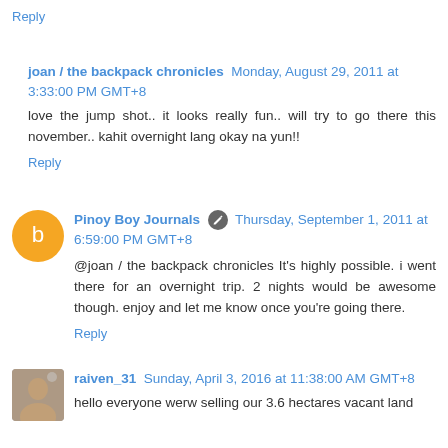Reply
joan / the backpack chronicles Monday, August 29, 2011 at 3:33:00 PM GMT+8
love the jump shot.. it looks really fun.. will try to go there this november.. kahit overnight lang okay na yun!!
Reply
Pinoy Boy Journals Thursday, September 1, 2011 at 6:59:00 PM GMT+8
@joan / the backpack chronicles It's highly possible. i went there for an overnight trip. 2 nights would be awesome though. enjoy and let me know once you're going there.
Reply
raiven_31 Sunday, April 3, 2016 at 11:38:00 AM GMT+8
hello everyone werw selling our 3.6 hectares vacant land